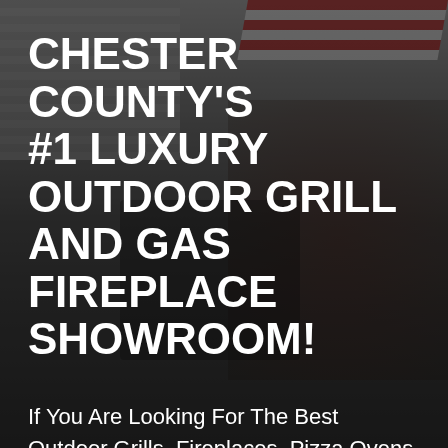[Figure (photo): Outdoor kitchen and grill showroom scene with a man in a red shirt working at a grill, an umbrella with red and white stripes in the upper right, and a dark overlay over the background image.]
CHESTER COUNTY'S #1 LUXURY OUTDOOR GRILL AND GAS FIREPLACE SHOWROOM!
If You Are Looking For The Best Outdoor Grills, Fireplaces, Pizza Ovens, Or Outdoor Kitchen Cooking Appliances, Talk To Us. 40 Years In